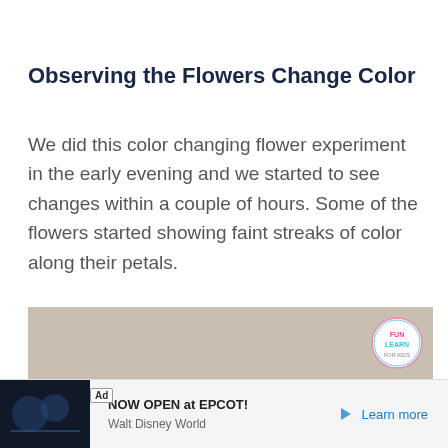Observing the Flowers Change Color
We did this color changing flower experiment in the early evening and we started to see changes within a couple of hours. Some of the flowers started showing faint streaks of color along their petals.
[Figure (photo): Photo of flowers in colored water, partially cropped. A circular watermark logo reading 'Fun Learning for Kids' appears in upper right corner.]
Ad  NOW OPEN at EPCOT!  Walt Disney World  Learn more